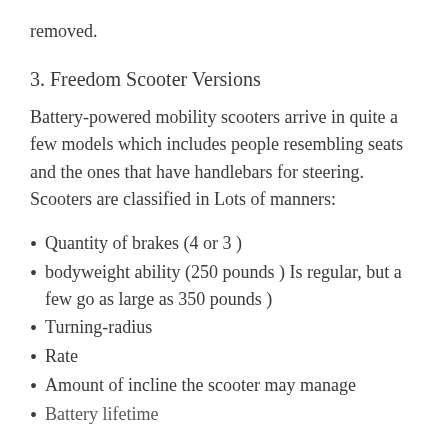removed.
3. Freedom Scooter Versions
Battery-powered mobility scooters arrive in quite a few models which includes people resembling seats and the ones that have handlebars for steering. Scooters are classified in Lots of manners:
Quantity of brakes (4 or 3 )
bodyweight ability (250 pounds ) Is regular, but a few go as large as 350 pounds )
Turning-radius
Rate
Amount of incline the scooter may manage
Battery lifetime